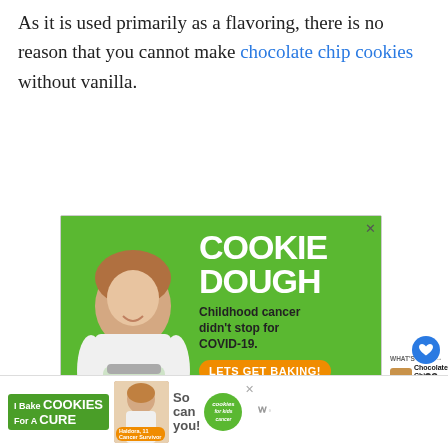As it is used primarily as a flavoring, there is no reason that you cannot make chocolate chip cookies without vanilla.
[Figure (advertisement): Green advertisement banner for 'Cookie Dough' fundraiser by Cookies for Kids' Cancer. Shows a young girl holding a jar of money. Text reads: COOKIE DOUGH, Childhood cancer didn't stop for COVID-19. LETS GET BAKING! cookies for kids' cancer. Has a close X button.]
[Figure (advertisement): Bottom banner ad: I Bake COOKIES For A CURE, Haldora, 11 Cancer Survivor, So can you! cookies for kids cancer logo.]